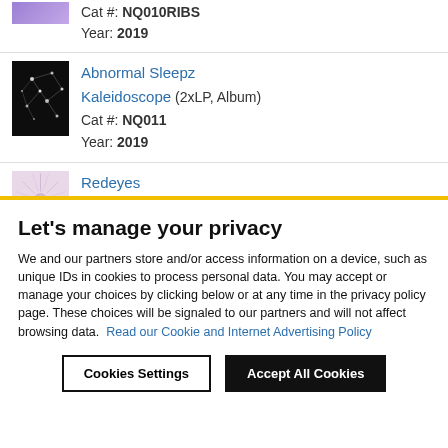Cat #: NQ010RIBS
Year: 2019
Abnormal Sleepz
Kaleidoscope (2xLP, Album)
Cat #: NQ011
Year: 2019
Redeyes
Unfinished Theory (12", EP)
Let's manage your privacy
We and our partners store and/or access information on a device, such as unique IDs in cookies to process personal data. You may accept or manage your choices by clicking below or at any time in the privacy policy page. These choices will be signaled to our partners and will not affect browsing data. Read our Cookie and Internet Advertising Policy